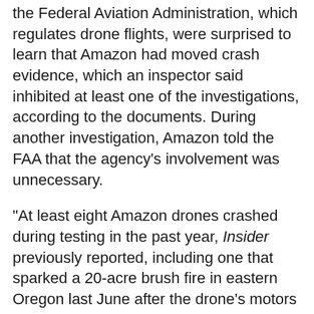the Federal Aviation Administration, which regulates drone flights, were surprised to learn that Amazon had moved crash evidence, which an inspector said inhibited at least one of the investigations, according to the documents. During another investigation, Amazon told the FAA that the agency's involvement was unnecessary.
"At least eight Amazon drones crashed during testing in the past year, Insider previously reported, including one that sparked a 20-acre brush fire in eastern Oregon last June after the drone's motors failed.
"Taken together, the documents suggest that Amazon has at times begrudged federal inspections of its experimental drone crashes. These findings come as the company seeks FAA approval to fly its drones in residential areas ahead of a potential mid-2024 customer debut. Regulatory delays could "totally disrupt"